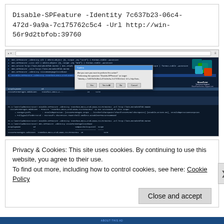Disable-SPFeature -Identity 7c637b23-06c4-472d-9a9a-7c175762c5c4 -Url http://win-56r9d2tbfob:39760
[Figure (screenshot): Screenshot of PowerShell window showing SharePoint feature management commands including Get-SPFeature, Disable-SPFeature, and enable-SPFeature cmdlets. A dialog box is open in the middle. SharePoint logo visible in top-right corner. The terminal shows command output with DisplayName, Id, CompatibilityLevel, and Scope columns.]
Privacy & Cookies: This site uses cookies. By continuing to use this website, you agree to their use.
To find out more, including how to control cookies, see here: Cookie Policy
Close and accept